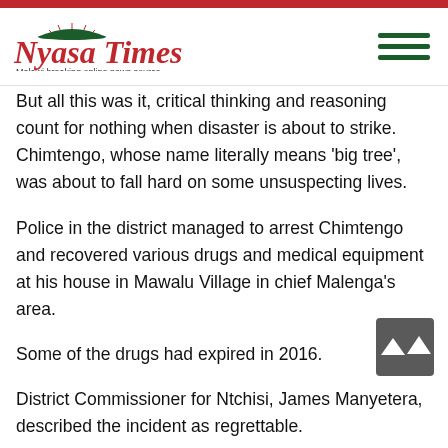Nyasa Times — Malawi breaking online news source
But all this was it, critical thinking and reasoning count for nothing when disaster is about to strike. Chimtengo, whose name literally means 'big tree', was about to fall hard on some unsuspecting lives.
Police in the district managed to arrest Chimtengo and recovered various drugs and medical equipment at his house in Mawalu Village in chief Malenga's area.
Some of the drugs had expired in 2016.
District Commissioner for Ntchisi, James Manyetera, described the incident as regrettable.
He appealed to traditional leaders and other stakeholders to sensitize people on the need to visit established health facilities for treatment whenever they are sick.